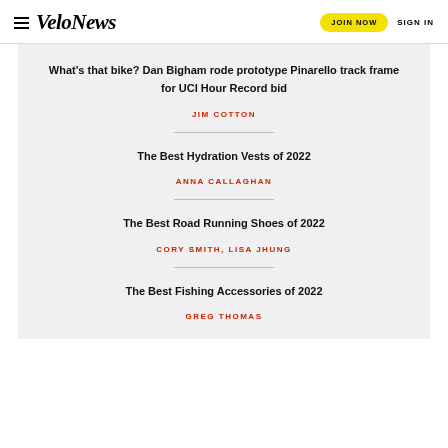VeloNews | JOIN NOW | SIGN IN
What's that bike? Dan Bigham rode prototype Pinarello track frame for UCI Hour Record bid
JIM COTTON
The Best Hydration Vests of 2022
ANNA CALLAGHAN
The Best Road Running Shoes of 2022
CORY SMITH, LISA JHUNG
The Best Fishing Accessories of 2022
GREG THOMAS